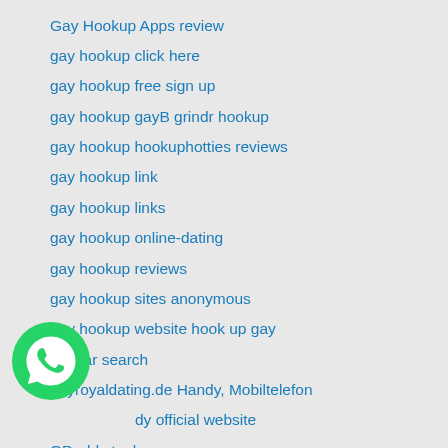Gay Hookup Apps review
gay hookup click here
gay hookup free sign up
gay hookup gayB grindr hookup
gay hookup hookuphotties reviews
gay hookup link
gay hookup links
gay hookup online-dating
gay hookup reviews
gay hookup sites anonymous
gay hookup website hook up gay
gaydar search
gayroyaldating.de Handy, Mobiltelefon
GDaddy official website
GDaddy try here
[Figure (logo): WhatsApp green phone icon logo]